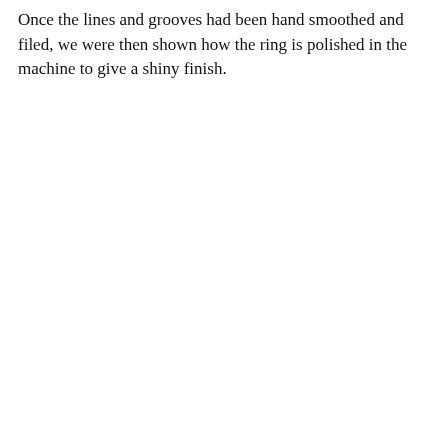Once the lines and grooves had been hand smoothed and filed, we were then shown how the ring is polished in the machine to give a shiny finish.